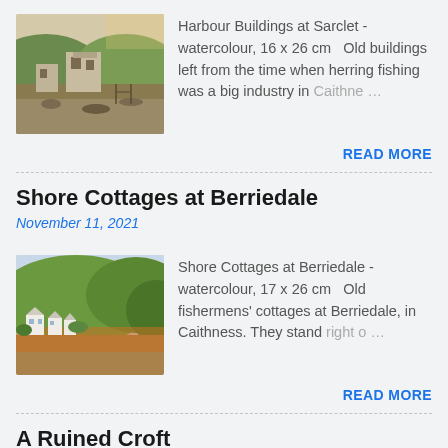[Figure (illustration): Watercolour thumbnail of harbour buildings at Sarclet with stone ruins in a hilly landscape]
Harbour Buildings at Sarclet - watercolour, 16 x 26 cm   Old buildings left from the time when herring fishing was a big industry in Caithne…
READ MORE
Shore Cottages at Berriedale
November 11, 2021
[Figure (illustration): Watercolour thumbnail of shore cottages at Berriedale with green hillside and white cottages]
Shore Cottages at Berriedale - watercolour, 17 x 26 cm   Old fishermens' cottages at Berriedale, in Caithness. They stand right o…
READ MORE
A Ruined Croft
November 21, 2021